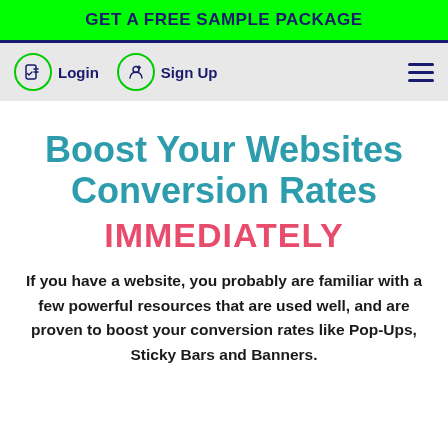GET A FREE SAMPLE PACKAGE
Login   Sign Up
Boost Your Websites Conversion Rates IMMEDIATELY
If you have a website, you probably are familiar with a few powerful resources that are used well, and are proven to boost your conversion rates like Pop-Ups, Sticky Bars and Banners.